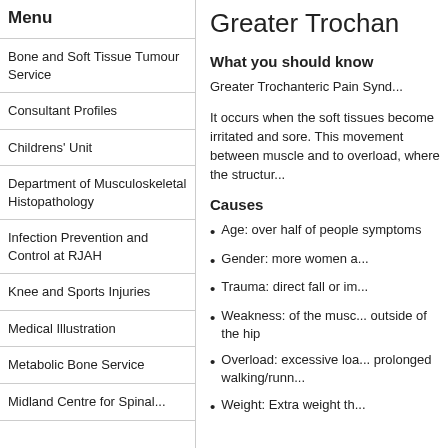Menu
Bone and Soft Tissue Tumour Service
Consultant Profiles
Childrens' Unit
Department of Musculoskeletal Histopathology
Infection Prevention and Control at RJAH
Knee and Sports Injuries
Medical Illustration
Metabolic Bone Service
Midland Centre for Spinal...
Greater Trochan
What you should know
Greater Trochanteric Pain Synd...
It occurs when the soft tissues become irritated and sore. This movement between muscle and to overload, where the structur...
Causes
Age: over half of people symptoms
Gender: more women a...
Trauma: direct fall or im...
Weakness: of the musc... outside of the hip
Overload: excessive loa... prolonged walking/runn...
Weight: Extra weight th...